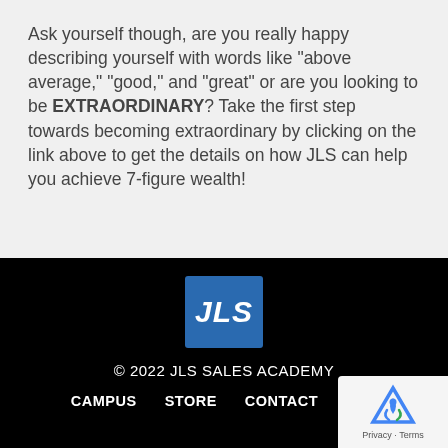Ask yourself though, are you really happy describing yourself with words like "above average," "good," and "great" or are you looking to be EXTRAORDINARY? Take the first step towards becoming extraordinary by clicking on the link above to get the details on how JLS can help you achieve 7-figure wealth!
[Figure (logo): JLS Sales Academy logo — blue square with white italic bold text 'JLS']
© 2022 JLS SALES ACADEMY
CAMPUS   STORE   CONTACT   Blog